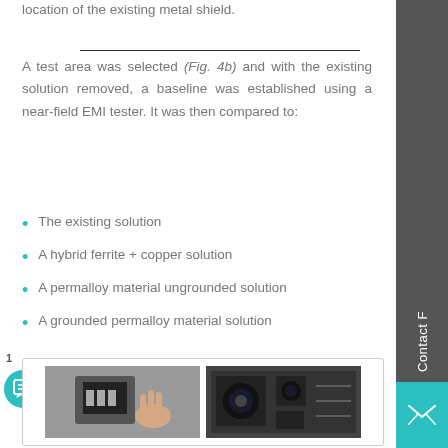location of the existing metal shield.
A test area was selected (Fig. 4b) and with the existing solution removed, a baseline was established using a near-field EMI tester. It was then compared to:
The existing solution
A hybrid ferrite + copper solution
A permalloy material ungrounded solution
A grounded permalloy material solution
[Figure (photo): Two photos: left shows a hand removing/inserting a component from a smartphone, right shows a circuit board with camera modules]